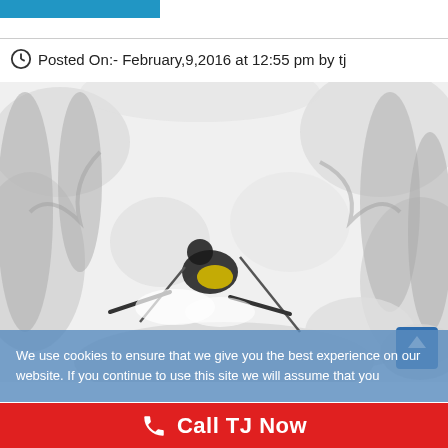Posted On:- February,9,2016 at 12:55 pm by tj
[Figure (photo): Aerial view of a skier in deep powder snow among snow-covered trees, black and white with yellow accent visible on gear]
We use cookies to ensure that we give you the best experience on our website. If you continue to use this site we will assume that you
Call TJ Now